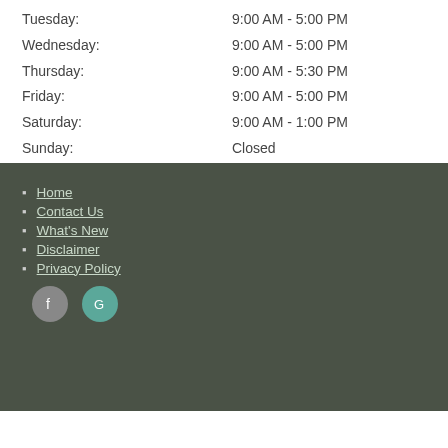Tuesday: 9:00 AM - 5:00 PM
Wednesday: 9:00 AM - 5:00 PM
Thursday: 9:00 AM - 5:30 PM
Friday: 9:00 AM - 5:00 PM
Saturday: 9:00 AM - 1:00 PM
Sunday: Closed
Home
Contact Us
What's New
Disclaimer
Privacy Policy